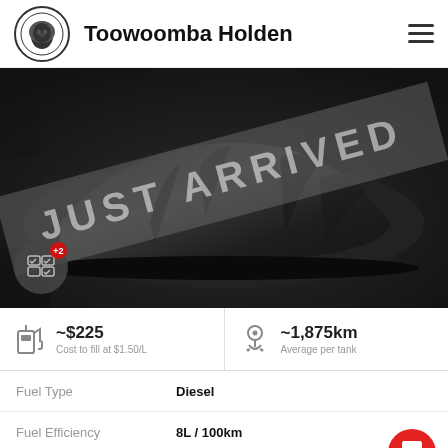Toowoomba Holden
[Figure (photo): Car covered with black cloth with 'JUST ARRIVED' diagonal banner overlay and compare icon badge showing +2]
~$225
Cost to fill at $1.50/L
~1,875km
Average per tank
|  |  |
| --- | --- |
| Fuel Type | Diesel |
| Fuel Efficiency | 8L / 100km |